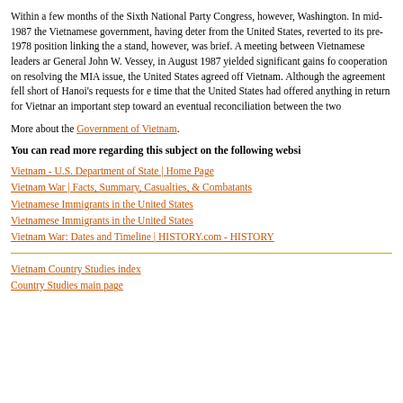Within a few months of the Sixth National Party Congress, however, Washington. In mid-1987 the Vietnamese government, having deter from the United States, reverted to its pre-1978 position linking the a stand, however, was brief. A meeting between Vietnamese leaders an General John W. Vessey, in August 1987 yielded significant gains fo cooperation on resolving the MIA issue, the United States agreed off Vietnam. Although the agreement fell short of Hanoi's requests for e time that the United States had offered anything in return for Vietna an important step toward an eventual reconciliation between the two
More about the Government of Vietnam.
You can read more regarding this subject on the following websi
Vietnam - U.S. Department of State | Home Page
Vietnam War | Facts, Summary, Casualties, & Combatants
Vietnamese Immigrants in the United States
Vietnamese Immigrants in the United States
Vietnam War: Dates and Timeline | HISTORY.com - HISTORY
Vietnam Country Studies index
Country Studies main page